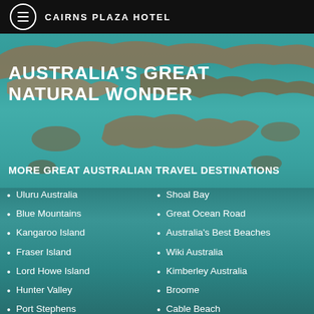CAIRNS PLAZA HOTEL
AUSTRALIA'S GREAT NATURAL WONDER
MORE GREAT AUSTRALIAN TRAVEL DESTINATIONS
Uluru Australia
Blue Mountains
Kangaroo Island
Fraser Island
Lord Howe Island
Hunter Valley
Port Stephens
Nelson Bay
Shoal Bay
Great Ocean Road
Australia's Best Beaches
Wiki Australia
Kimberley Australia
Broome
Cable Beach
Aussie Hotel Bookings